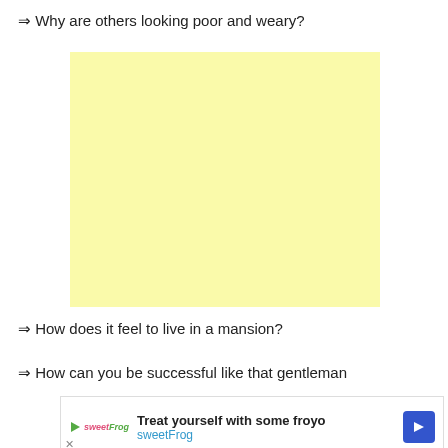⇒ Why are others looking poor and weary?
[Figure (other): Yellow blank rectangle placeholder (advertisement or image placeholder)]
⇒ How does it feel to live in a mansion?
⇒ How can you be successful like that gentleman
[Figure (infographic): Advertisement banner for sweetFrog frozen yogurt: 'Treat yourself with some froyo' with sweetFrog branding, play button icon, and blue diamond arrow navigation button]